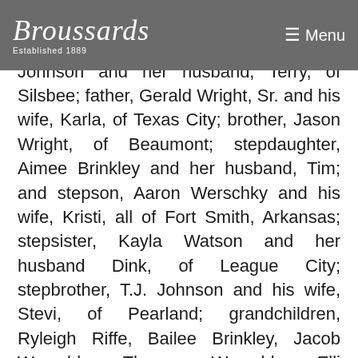Broussards Established 1889 | Menu
He is survived by his wife, Alica Wright; daughter, Devy Silsbee; mother, Lyna Johnson and her husband, Terry, of Silsbee; father, Gerald Wright, Sr. and his wife, Karla, of Texas City; brother, Jason Wright, of Beaumont; stepdaughter, Aimee Brinkley and her husband, Tim; and stepson, Aaron Werschky and his wife, Kristi, all of Fort Smith, Arkansas; stepsister, Kayla Watson and her husband Dink, of League City; stepbrother, T.J. Johnson and his wife, Stevi, of Pearland; grandchildren, Ryleigh Riffe, Bailee Brinkley, Jacob Werschky, Thomas Werschky, Elli Brinkley, Alex Werschky, and Levi Brinkley; aunt, Karen Cleveland, of Lumberton; and cousins, Chris Cleveland, of Beaumont and Justin Cleveland and his wife, Erin, of Lumberton, and their